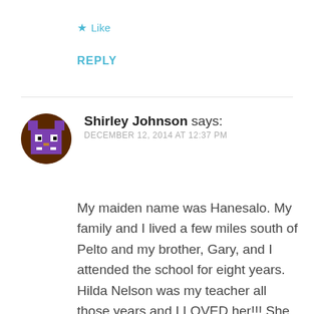★ Like
REPLY
[Figure (illustration): Circular avatar with brown background and purple pixel-art character (cat/monster face)]
Shirley Johnson says:
DECEMBER 12, 2014 AT 12:37 PM
My maiden name was Hanesalo. My family and I lived a few miles south of Pelto and my brother, Gary, and I attended the school for eight years. Hilda Nelson was my teacher all those years and I LOVED her!!! She enabled me to graduate from college because